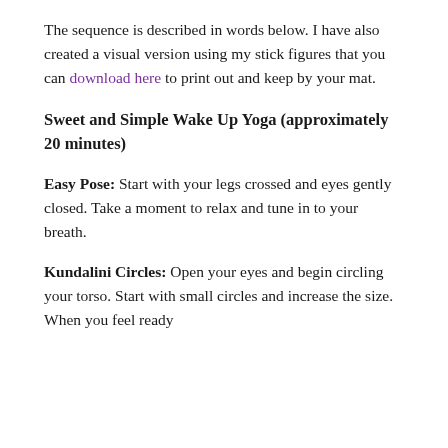The sequence is described in words below. I have also created a visual version using my stick figures that you can download here to print out and keep by your mat.
Sweet and Simple Wake Up Yoga (approximately 20 minutes)
Easy Pose: Start with your legs crossed and eyes gently closed. Take a moment to relax and tune in to your breath.
Kundalini Circles: Open your eyes and begin circling your torso. Start with small circles and increase the size. When you feel ready